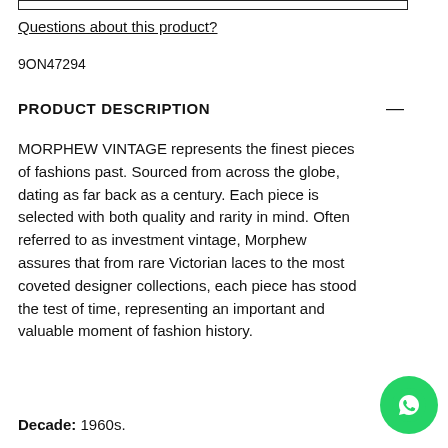[Figure (other): Top border box outline]
Questions about this product?
9ON47294
PRODUCT DESCRIPTION —
MORPHEW VINTAGE represents the finest pieces of fashions past. Sourced from across the globe, dating as far back as a century. Each piece is selected with both quality and rarity in mind. Often referred to as investment vintage, Morphew assures that from rare Victorian laces to the most coveted designer collections, each piece has stood the test of time, representing an important and valuable moment of fashion history.
Decade: 1960s.
[Figure (other): WhatsApp contact button (green circle with WhatsApp logo)]